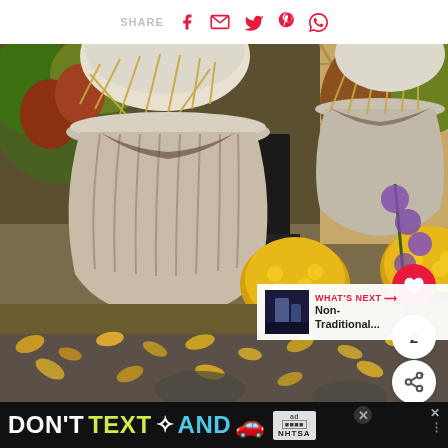SHARE [Facebook] [Email] [Twitter] [Pinterest] [WhatsApp]
[Figure (photo): Autumn garden scene with decorative stone urns topped with dried grass/raffia, yellow chrysanthemums in dark pots, and fallen leaves on a gravel path, with purple flowers visible on the right side]
2
WHAT'S NEXT → Non-Traditional...
DON'T TEXT AND [car emoji] ad NHTSA